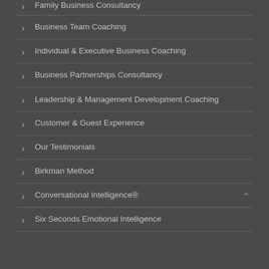Family Business Consultancy
Business Team Coaching
Individual & Executive Business Coaching
Business Partnerships Consultancy
Leadership & Management Development Coaching
Customer & Guest Experience
Our Testimonials
Birkman Method
Conversational Intelligence®
Six Seconds Emotional Intelligence